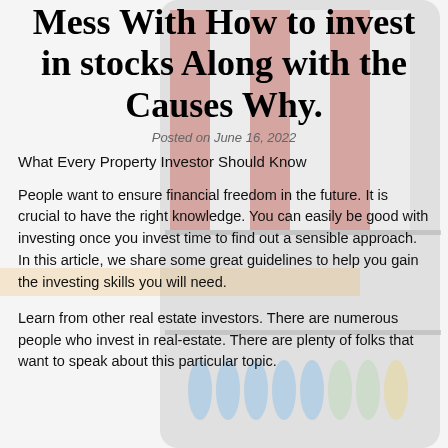Mess With How to invest in stocks Along with the Causes Why.
Posted on June 16, 2022
What Every Property Investor Should Know
People want to ensure financial freedom in the future. It is crucial to have the right knowledge. You can easily be good with investing once you invest time to find out a sensible approach. In this article, we share some great guidelines to help you gain the investing skills you will need.
Learn from other real estate investors. There are numerous people who invest in real-estate. There are plenty of folks that want to speak about this particular topic.